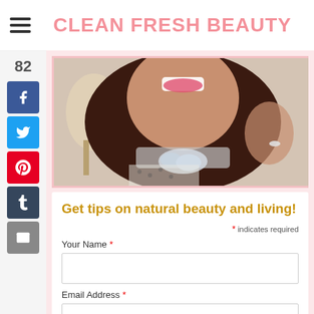CLEAN FRESH BEAUTY
[Figure (photo): Close-up photo of a smiling woman with dark hair, wearing a statement necklace with crystal/rhinestone embellishments and a white dotted top, touching her necklace with one hand showing a ring.]
Get tips on natural beauty and living!
* indicates required
Your Name *
Email Address *